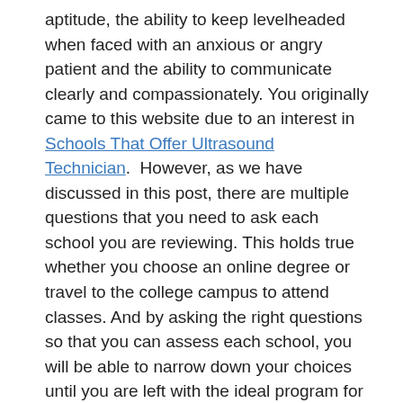aptitude, the ability to keep levelheaded when faced with an anxious or angry patient and the ability to communicate clearly and compassionately. You originally came to this website due to an interest in Schools That Offer Ultrasound Technician.  However, as we have discussed in this post, there are multiple questions that you need to ask each school you are reviewing. This holds true whether you choose an online degree or travel to the college campus to attend classes. And by asking the right questions so that you can assess each school, you will be able to narrow down your choices until you are left with the ideal program for your education. And with the right training, discipline and determination to succeed, you can achieve your goal to work as an sonographer in Surprise AZ.
Other Ultrasound Locations in Arizona
Colleges That Offer Ultrasound Technician Programs Joseph City AZ